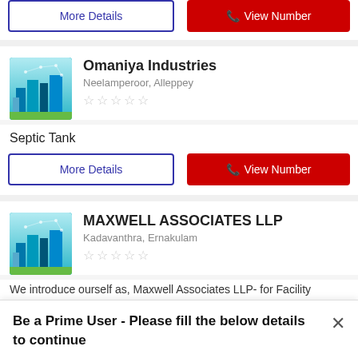[Figure (screenshot): More Details button (blue outline) and View Number button (red) at top]
[Figure (illustration): City/technology illustration for Omaniya Industries]
Omaniya Industries
Neelamperoor, Alleppey
★★★★★ (no rating)
Septic Tank
[Figure (screenshot): More Details button and View Number button for Omaniya Industries]
[Figure (illustration): City/technology illustration for MAXWELL ASSOCIATES LLP]
MAXWELL ASSOCIATES LLP
Kadavanthra, Ernakulam
★★★★★ (no rating)
We introduce ourself as, Maxwell Associates LLP- for Facility Services, provides well trai
Be a Prime User - Please fill the below details to continue